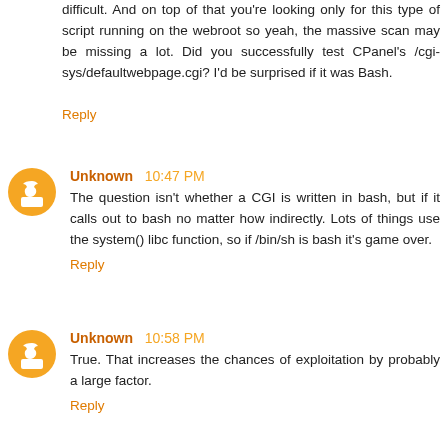difficult. And on top of that you're looking only for this type of script running on the webroot so yeah, the massive scan may be missing a lot. Did you successfully test CPanel's /cgi-sys/defaultwebpage.cgi? I'd be surprised if it was Bash.
Reply
Unknown 10:47 PM
The question isn't whether a CGI is written in bash, but if it calls out to bash no matter how indirectly. Lots of things use the system() libc function, so if /bin/sh is bash it's game over.
Reply
Unknown 10:58 PM
True. That increases the chances of exploitation by probably a large factor.
Reply